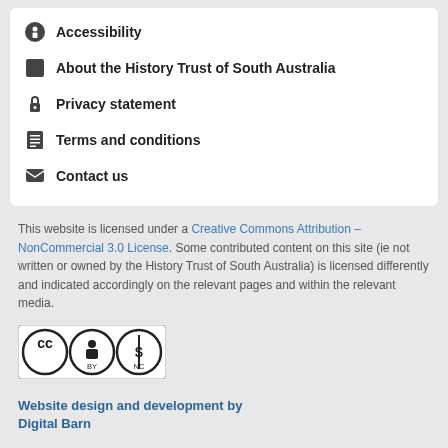Accessibility
About the History Trust of South Australia
Privacy statement
Terms and conditions
Contact us
This website is licensed under a Creative Commons Attribution – NonCommercial 3.0 License. Some contributed content on this site (ie not written or owned by the History Trust of South Australia) is licensed differently and indicated accordingly on the relevant pages and within the relevant media.
[Figure (logo): Creative Commons Attribution NonCommercial license badge with CC, BY, and NC icons]
Website design and development by Digital Barn